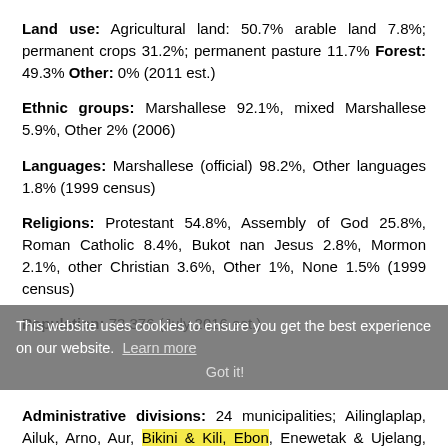Land use: Agricultural land: 50.7% arable land 7.8%; permanent crops 31.2%; permanent pasture 11.7% Forest: 49.3% Other: 0% (2011 est.)
Ethnic groups: Marshallese 92.1%, mixed Marshallese 5.9%, Other 2% (2006)
Languages: Marshallese (official) 98.2%, Other languages 1.8% (1999 census)
Religions: Protestant 54.8%, Assembly of God 25.8%, Roman Catholic 8.4%, Bukot nan Jesus 2.8%, Mormon 2.1%, other Christian 3.6%, Other 1%, None 1.5% (1999 census)
Population: 73,376 (July 2016 est.)
Administrative divisions: 24 municipalities; Ailinglaplap, Ailuk, Arno, Aur, Bikini & Kili, Ebon, Enewetak & Ujelang, Jabat, Jaluit, Kwajalein, Lae, Lib, Likiep, Majuro, Maloelap, Mejit, Mili, Namdrik, Namu, Rongelap, Ujae, Utrik, Wotho,